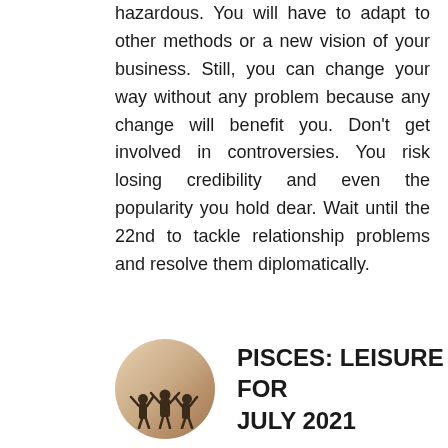hazardous. You will have to adapt to other methods or a new vision of your business. Still, you can change your way without any problem because any change will benefit you. Don't get involved in controversies. You risk losing credibility and even the popularity you hold dear. Wait until the 22nd to tackle relationship problems and resolve them diplomatically.
[Figure (photo): Circular photo showing silhouettes of people with arms raised against a warm sky background]
PISCES: LEISURE FOR JULY 2021